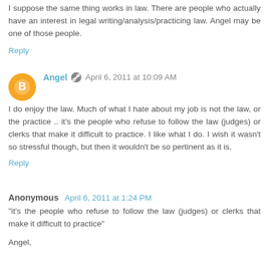I suppose the same thing works in law. There are people who actually have an interest in legal writing/analysis/practicing law. Angel may be one of those people.
Reply
Angel  April 6, 2011 at 10:09 AM
I do enjoy the law. Much of what I hate about my job is not the law, or the practice .. it's the people who refuse to follow the law (judges) or clerks that make it difficult to practice. I like what I do. I wish it wasn't so stressful though, but then it wouldn't be so pertinent as it is.
Reply
Anonymous  April 6, 2011 at 1:24 PM
"it's the people who refuse to follow the law (judges) or clerks that make it difficult to practice"
Angel,